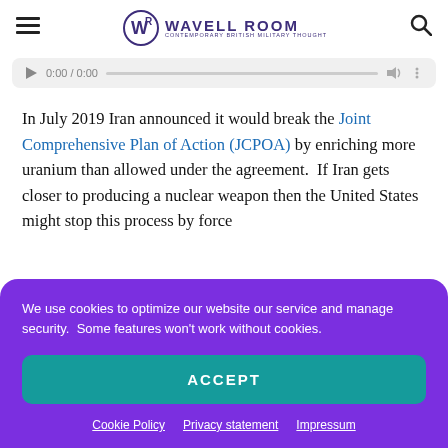Wavell Room — Contemporary British Military Thought
[Figure (screenshot): Audio player bar showing play button, timestamp 0:00 / 0:00, progress bar, volume and options icons]
In July 2019 Iran announced it would break the Joint Comprehensive Plan of Action (JCPOA) by enriching more uranium than allowed under the agreement.  If Iran gets closer to producing a nuclear weapon then the United States might stop this process by force
We use cookies to optimize our website our service and manage security.  Some features won't work without cookies.
ACCEPT
Cookie Policy · Privacy statement · Impressum